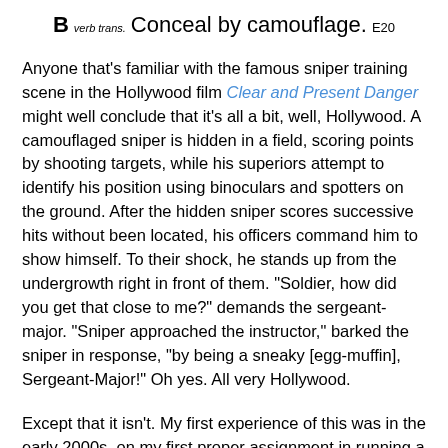B verb trans. Conceal by camouflage. E20
Anyone that's familiar with the famous sniper training scene in the Hollywood film Clear and Present Danger might well conclude that it's all a bit, well, Hollywood. A camouflaged sniper is hidden in a field, scoring points by shooting targets, while his superiors attempt to identify his position using binoculars and spotters on the ground. After the hidden sniper scores successive hits without been located, his officers command him to show himself. To their shock, he stands up from the undergrowth right in front of them. "Soldier, how did you get that close to me?" demands the sergeant-major. "Sniper approached the instructor," barked the sniper in response, "by being a sneaky [egg-muffin], Sergeant-Major!" Oh yes. All very Hollywood.
Except that it isn't. My first experience of this was in the early 2000s, on my first proper assignment in running a multi-faceted surveillance operation in the rurals. One member of the team was an ex-special forces soldier, and his role required him to don his ghillie suit, dig in for the day, and report all movement from the entrance to the subject's